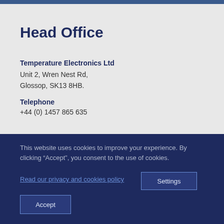Head Office
Temperature Electronics Ltd
Unit 2, Wren Nest Rd,
Glosssop, SK13 8HB.
Telephone
+44 (0) 1457 865 635
This website uses cookies to improve your experience. By clicking “Accept”, you consent to the use of cookies.
Read our privacy and cookies policy
Settings
Accept